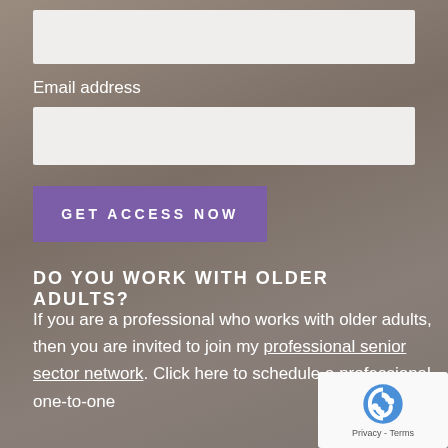[Figure (other): Input text field (empty, light gray background)]
Email address
[Figure (other): Input text field for email address (empty, light gray background)]
[Figure (other): Purple button with text GET ACCESS NOW]
DO YOU WORK WITH OLDER ADULTS?
If you are a professional who works with older adults, then you are invited to join my professional senior sector network. Click here to schedule a professional one-to-one
[Figure (other): reCAPTCHA badge showing Privacy - Terms]